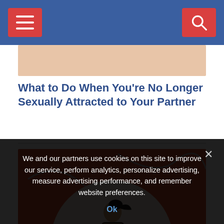Navigation bar with hamburger menu and search icon
[Figure (photo): Partial image from article above - peach/skin-tone colored image stub]
What to Do When You're No Longer Sexually Attracted to Your Partner
[Figure (photo): Woman running/jogging in athletic wear (sports bra and black leggings with orange sneakers) shown inside a circular frame on a red/orange background with decorative grey curved lines]
We and our partners use cookies on this site to improve our service, perform analytics, personalize advertising, measure advertising performance, and remember website preferences.
Ok